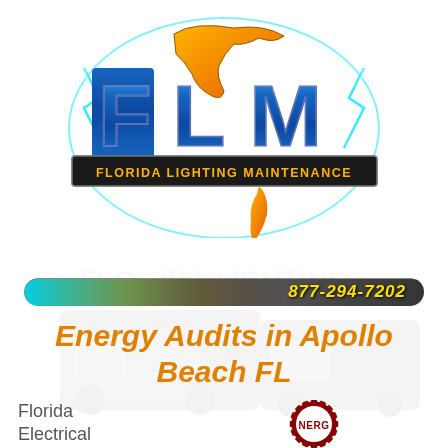[Figure (logo): FLM Florida Lighting Maintenance logo with blue and orange stylized letters FLM, Florida state outline in orange/gold on top, cyan lightning effects, and a dark banner reading FLORIDA LIGHTING MAINTENANCE]
[Figure (infographic): Horizontal phone bar with cyan/orange/yellow glow gradient on left and dark right side showing phone number 877-294-7202 in gold italic bold text]
Energy Audits in Apollo Beach FL
Florida Electrical
[Figure (logo): NERG certification badge logo, red circular gear/sunburst border, partial letters NERG visible]